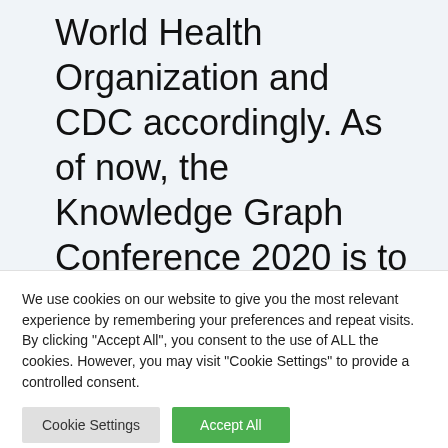World Health Organization and CDC accordingly. As of now, the Knowledge Graph Conference 2020 is to take place on May 6-7 at Columbia University, as scheduled. However, the workshops and tutorials on May 4-5
We use cookies on our website to give you the most relevant experience by remembering your preferences and repeat visits. By clicking "Accept All", you consent to the use of ALL the cookies. However, you may visit "Cookie Settings" to provide a controlled consent.
Cookie Settings | Accept All